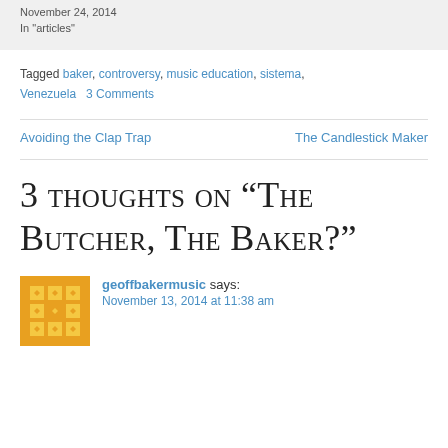November 24, 2014
In "articles"
Tagged baker, controversy, music education, sistema, Venezuela   3 Comments
Avoiding the Clap Trap   The Candlestick Maker
3 thoughts on “The Butcher, The Baker?”
geoffbakermusic says: November 13, 2014 at 11:38 am